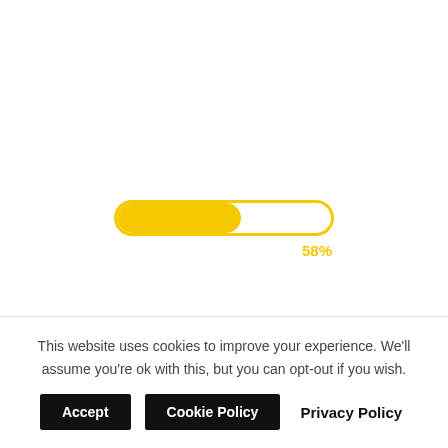[Figure (infographic): A yellow progress bar showing 58% completion, with a yellow border rounded rectangle outline and yellow filled bar on the left portion. Below the bar, '58%' is shown in yellow text aligned to the right of the bar.]
This website uses cookies to improve your experience. We'll assume you're ok with this, but you can opt-out if you wish.
Accept
Cookie Policy
Privacy Policy